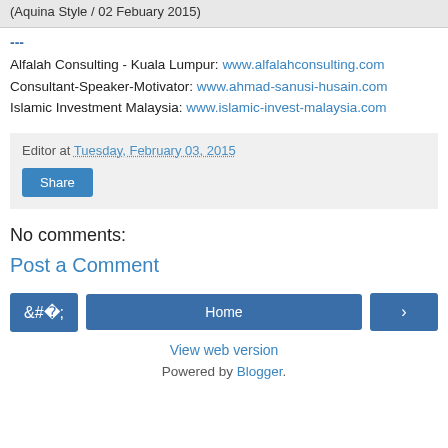(Aquina Style / 02 Febuary 2015)
---
Alfalah Consulting - Kuala Lumpur: www.alfalahconsulting.com
Consultant-Speaker-Motivator: www.ahmad-sanusi-husain.com
Islamic Investment Malaysia: www.islamic-invest-malaysia.com
Editor at Tuesday, February 03, 2015
Share
No comments:
Post a Comment
Home | View web version | Powered by Blogger.